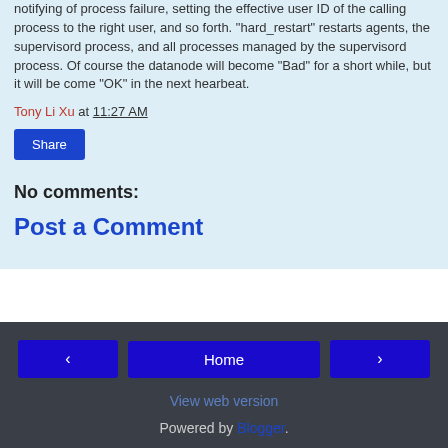notifying of process failure, setting the effective user ID of the calling process to the right user, and so forth. "hard_restart" restarts agents, the supervisord process, and all processes managed by the supervisord process. Of course the datanode will become "Bad" for a short while, but it will be come "OK" in the next hearbeat.
Tony Li Xu at 11:27 AM
Share
No comments:
Post a Comment
◄  Home  ►  View web version  Powered by Blogger.